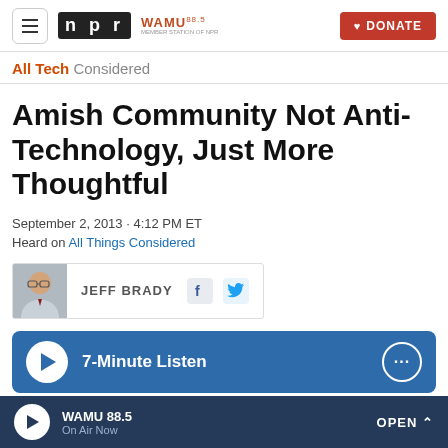NPR | WAMU 88.5 | DONATE
All Tech Considered
Amish Community Not Anti-Technology, Just More Thoughtful
September 2, 2013 · 4:12 PM ET
Heard on All Things Considered
JEFF BRADY
[Figure (other): Audio player button with text: 7-Minute Listen]
WAMU 88.5 | On Air Now | OPEN